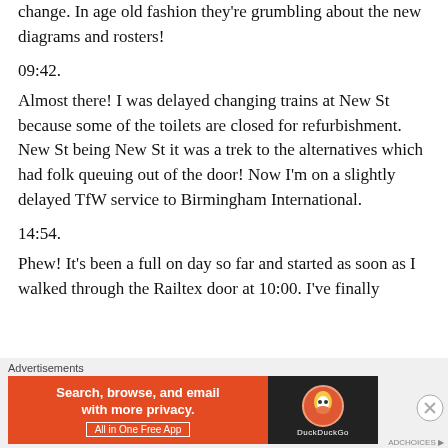change. In age old fashion they're grumbling about the new diagrams and rosters!
09:42.
Almost there! I was delayed changing trains at New St because some of the toilets are closed for refurbishment. New St being New St it was a trek to the alternatives which had folk queuing out of the door! Now I'm on a slightly delayed TfW service to Birmingham International.
14:54.
Phew! It's been a full on day so far and started as soon as I walked through the Railtex door at 10:00. I've finally
Advertisements
[Figure (infographic): DuckDuckGo advertisement banner: orange background with text 'Search, browse, and email with more privacy. All in One Free App' and DuckDuckGo duck logo on dark background]